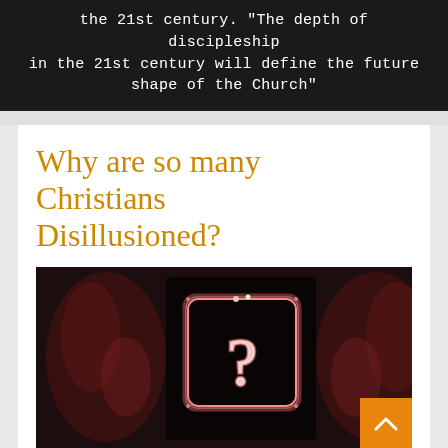the 21st century. "The depth of discipleship in the 21st century will define the future shape of the Church"
Why are so many Christians Disillusioned?
[Figure (photo): Dark atmospheric photo showing a glowing neon question mark inside a square frame, with blurry reddish figures on either side in a dark corridor]